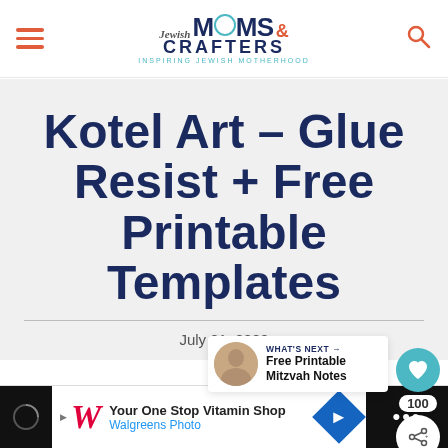Jewish Moms & Crafters — Inspiring Jewish Motherhood
Kotel Art – Glue Resist + Free Printable Templates
July 21, 2020
100
WHAT'S NEXT → Free Printable Mitzvah Notes
Share the Love!
[Figure (screenshot): Walgreens ad banner: Your One Stop Vitamin Shop — Walgreens Photo]